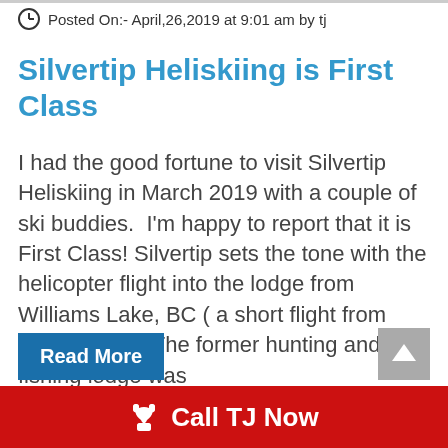Posted On:- April,26,2019 at 9:01 am by tj
Silvertip Heliskiing is First Class
I had the good fortune to visit Silvertip Heliskiing in March 2019 with a couple of ski buddies.  I'm happy to report that it is First Class! Silvertip sets the tone with the helicopter flight into the lodge from Williams Lake, BC ( a short flight from Vancouver.)   The former hunting and fishing lodge was
Read More
Call TJ Now